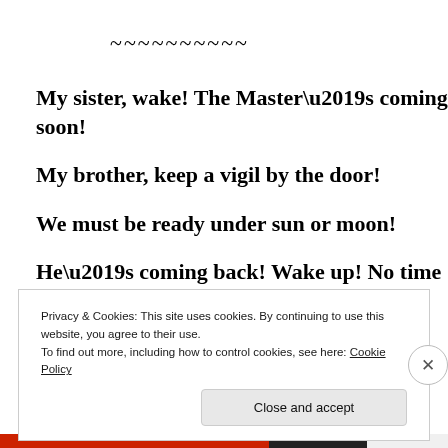~~~~~~~~~~
My sister, wake! The Master’s coming soon!
My brother, keep a vigil by the door!
We must be ready under sun or moon!
He’s coming back! Wake up! No time to snore!
Privacy & Cookies: This site uses cookies. By continuing to use this website, you agree to their use.
To find out more, including how to control cookies, see here: Cookie Policy